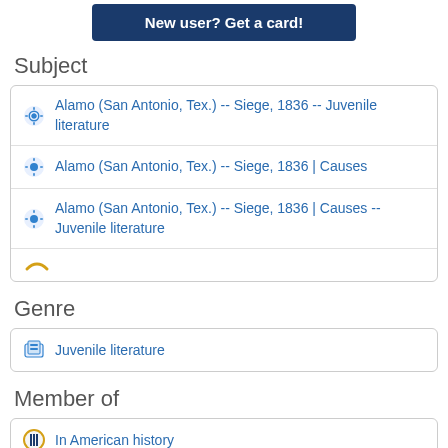New user? Get a card!
Subject
Alamo (San Antonio, Tex.) -- Siege, 1836 -- Juvenile literature
Alamo (San Antonio, Tex.) -- Siege, 1836 | Causes
Alamo (San Antonio, Tex.) -- Siege, 1836 | Causes -- Juvenile literature
Genre
Juvenile literature
Member of
In American history
Stories in American history